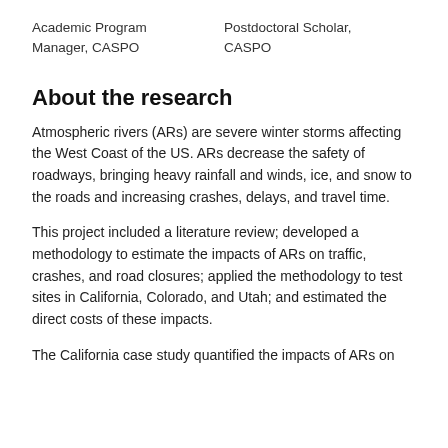Academic Program Manager, CASPO
Postdoctoral Scholar, CASPO
About the research
Atmospheric rivers (ARs) are severe winter storms affecting the West Coast of the US. ARs decrease the safety of roadways, bringing heavy rainfall and winds, ice, and snow to the roads and increasing crashes, delays, and travel time.
This project included a literature review; developed a methodology to estimate the impacts of ARs on traffic, crashes, and road closures; applied the methodology to test sites in California, Colorado, and Utah; and estimated the direct costs of these impacts.
The California case study quantified the impacts of ARs on